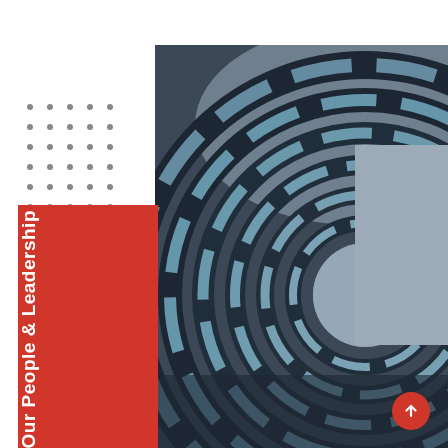[Figure (photo): Aerial/upward view of a circular multi-story building with blue glass panels arranged in concentric rings, shot from below looking up at the sky]
Our People & Leadership